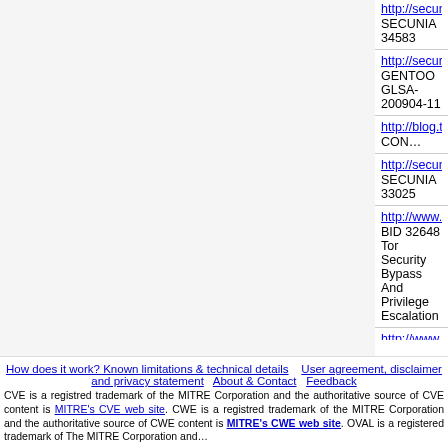| Reference |
| --- |
| http://secunia.com/advisories/34583
SECUNIA 34583 |
| http://security.gentoo.org/glsa/glsa-200904-11.xml
GENTOO GLSA-200904-11 |
| http://blog.torproject.org/blog/tor-0.2.0.32-released CON… |
| http://secunia.com/advisories/33025
SECUNIA 33025 |
| http://www.securityfocus.com/bid/32648
BID 32648 Tor Security Bypass And Privilege Escalation |
| http://www.vupen.com/english/advisories/2008/3366
VUPEN ADV-2008-3366 |
| https://exchange.xforce.ibmcloud.com/vulnerabilities/471…
XF tor-user-privilege-escalation(47101) |
- Metasploit Modules Related To CVE-20…
There are not any metasploit modules related to this CVE…
How does it work? Known limitations & technical details | User agreement, disclaimer and privacy statement | About & Contact | Feedback
CVE is a registred trademark of the MITRE Corporation and the authoritative source of CVE content is MITRE's CVE web site. CWE is a registred trademark of the MITRE Corporation and the authoritative source of CWE content is MITRE's CWE web site. OVAL is a registered trademark of The MITRE Corporation and…